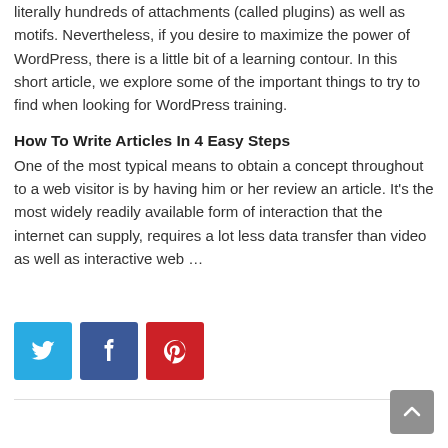literally hundreds of attachments (called plugins) as well as motifs. Nevertheless, if you desire to maximize the power of WordPress, there is a little bit of a learning contour. In this short article, we explore some of the important things to try to find when looking for WordPress training.
How To Write Articles In 4 Easy Steps
One of the most typical means to obtain a concept throughout to a web visitor is by having him or her review an article. It's the most widely readily available form of interaction that the internet can supply, requires a lot less data transfer than video as well as interactive web …
[Figure (infographic): Three social sharing buttons: Twitter (cyan), Facebook (dark blue), Pinterest (red), each with white icon]